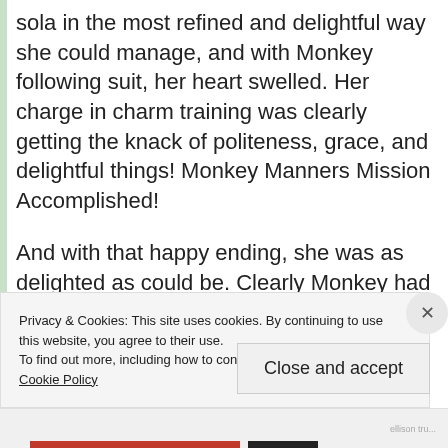sola in the most refined and delightful way she could manage, and with Monkey following suit, her heart swelled. Her charge in charm training was clearly getting the knack of politeness, grace, and delightful things! Monkey Manners Mission Accomplished!
And with that happy ending, she was as delighted as could be. Clearly Monkey had seen that manners are fun and
Privacy & Cookies: This site uses cookies. By continuing to use this website, you agree to their use.
To find out more, including how to control cookies, see here: Cookie Policy
Close and accept